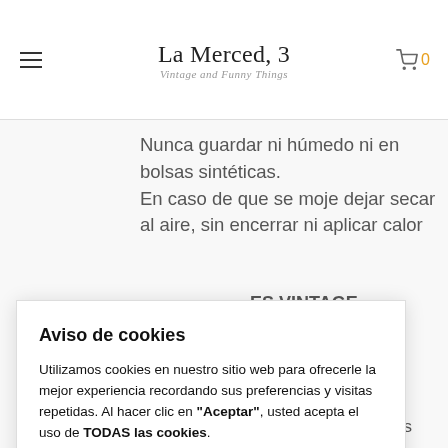La Merced, 3 Vintage and Funny Things
Nunca guardar ni húmedo ni en bolsas sintéticas.
En caso de que se moje dejar secar al aire, sin encerrar ni aplicar calor
ES VINTAGE puesto, en por lo general antiguos y muy
i identico al anterior. Usado muy pocas veces (una
Aviso de cookies
Utilizamos cookies en nuestro sitio web para ofrecerle la mejor experiencia recordando sus preferencias y visitas repetidas. Al hacer clic en "Aceptar", usted acepta el uso de TODAS las cookies.
Leer más
Ajustes   Aceptar   No, gracias